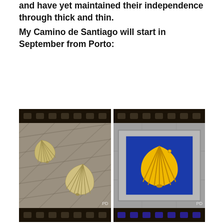and have yet maintained their independence through thick and thin.
My Camino de Santiago will start in September from Porto:
[Figure (photo): Two film-strip style photographs side by side. Left: two silver scallop shells embedded in cobblestone pavement. Right: a blue decorative tile mounted in stone wall featuring a golden/yellow scallop shell emblem.]
Porto, a coastal city in northwest Portugal, is Portugal's 2nd largest city and known for its stately bridges and port wine production. In the medieval Ribeira (riverside) district, narrow cobbled streets wind past merchants' houses and